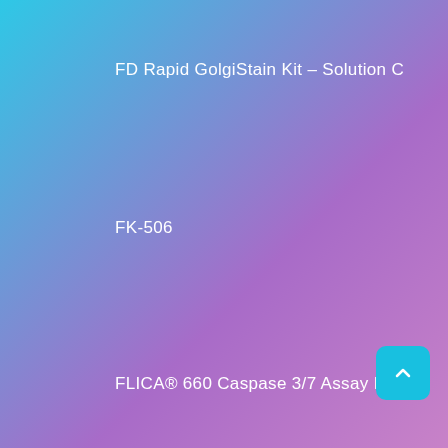FD Rapid GolgiStain Kit – Solution C
FK-506
FLICA® 660 Caspase 3/7 Assay Kit
Flow cytometry Protein G Antibody
Fluoresbrite YG Microspheres 0.05µm
Fluoresbrite YG Microspheres 0.50µm
Fluorescent Amino Magnetic Particles